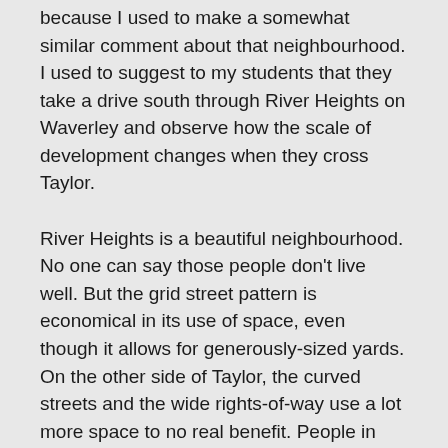because I used to make a somewhat similar comment about that neighbourhood. I used to suggest to my students that they take a drive south through River Heights on Waverley and observe how the scale of development changes when they cross Taylor.
River Heights is a beautiful neighbourhood. No one can say those people don't live well. But the grid street pattern is economical in its use of space, even though it allows for generously-sized yards. On the other side of Taylor, the curved streets and the wide rights-of-way use a lot more space to no real benefit. People in Linden Woods don't live better than people